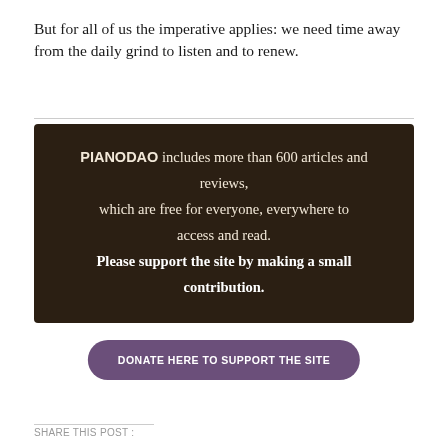But for all of us the imperative applies: we need time away from the daily grind to listen and to renew.
PIANODAO includes more than 600 articles and reviews, which are free for everyone, everywhere to access and read. Please support the site by making a small contribution.
DONATE HERE TO SUPPORT THE SITE
SHARE THIS POST :